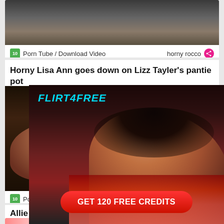[Figure (screenshot): Partial video thumbnail at top of page, dark toned image]
Porn Tube / Download Video   horny rocco
Horny Lisa Ann goes down on Lizz Tayler's pantie pot
[Figure (screenshot): Video thumbnail showing two people, partially overlapped by Flirt4Free advertisement]
Porn Tube
[Figure (advertisement): Flirt4Free advertisement overlay showing a woman in red lingerie with GET 120 FREE CREDITS button]
Allie James is